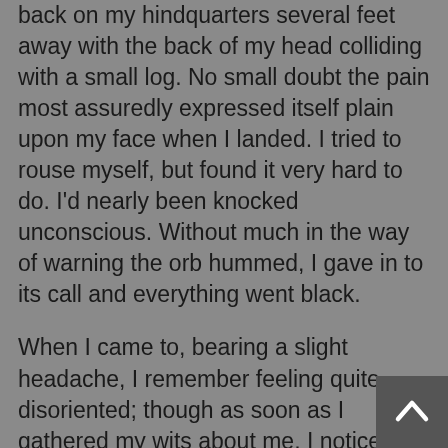back on my hindquarters several feet away with the back of my head colliding with a small log. No small doubt the pain most assuredly expressed itself plain upon my face when I landed. I tried to rouse myself, but found it very hard to do. I'd nearly been knocked unconscious. Without much in the way of warning the orb hummed, I gave in to its call and everything went black.
When I came to, bearing a slight headache, I remember feeling quite disoriented; though as soon as I gathered my wits about me, I noticed the ball had gone. I gruffly pulled myself up, putting my hands to my hips, realizing how rude to have some passing stranger abscond with the silvery ball and not bothering to assist a girl in need. Who would have taken it and not bothered to lend me hand? That troubled me greatly as I slowly started to make my way home.
Hearing my mother's clucking tongue in my head, only because I knew she would berate me for my shaken appearance, I did my best to dust myself off. Only I as I did so I discovered, to my shock while ambling over the countryside, I was not alone. I could not see who it was at first. All I heard was the